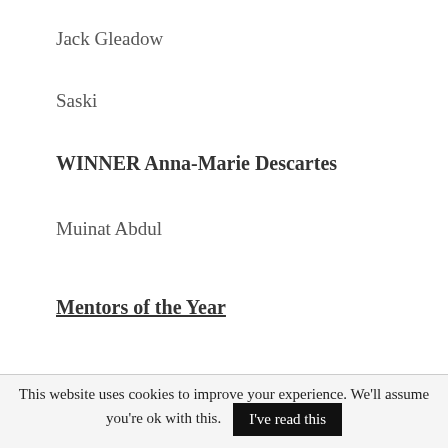Jack Gleadow
Saski
WINNER Anna-Marie Descartes
Muinat Abdul
Mentors of the Year
Katie Hindley
This website uses cookies to improve your experience. We'll assume you're ok with this. I've read this